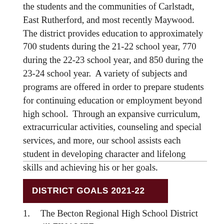the students and the communities of Carlstadt, East Rutherford, and most recently Maywood.  The district provides education to approximately 700 students during the 21-22 school year, 770 during the 22-23 school year, and 850 during the 23-24 school year.  A variety of subjects and programs are offered in order to prepare students for continuing education or employment beyond high school.  Through an expansive curriculum, extracurricular activities, counseling and special services, and more, our school assists each student in developing character and lifelong skills and achieving his or her goals.
DISTRICT GOALS 2021-22
The Becton Regional High School District will FINALIZE